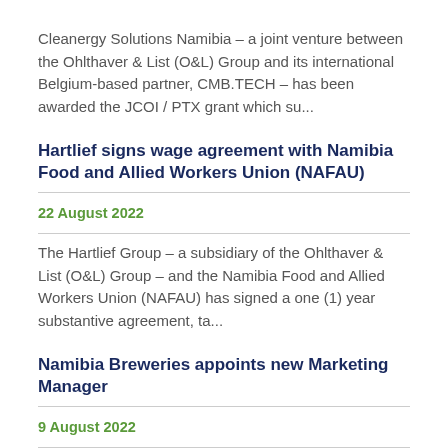Cleanergy Solutions Namibia – a joint venture between the Ohlthaver & List (O&L) Group and its international Belgium-based partner, CMB.TECH – has been awarded the JCOI / PTX grant which su...
Hartlief signs wage agreement with Namibia Food and Allied Workers Union (NAFAU)
22 August 2022
The Hartlief Group – a subsidiary of the Ohlthaver & List (O&L) Group – and the Namibia Food and Allied Workers Union (NAFAU) has signed a one (1) year substantive agreement, ta...
Namibia Breweries appoints new Marketing Manager
9 August 2022